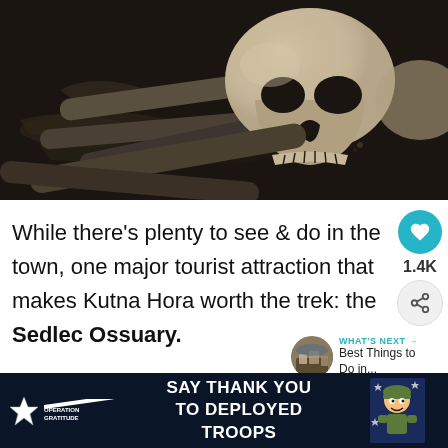[Figure (photo): Close-up photograph of a human skull resting on bones, dark moody lighting, ossuary-style composition]
While there’s plenty to see & do in the town, one major tourist attraction that makes Kutna Hora worth the trek: the Sedlec Ossuary.
[Figure (infographic): WHAT'S NEXT -> Best Things to Do in... with circular thumbnail of city panorama]
[Figure (infographic): Advertisement banner: Operation Gratitude - SAY THANK YOU TO DEPLOYED TROOPS, with military mascot illustration]